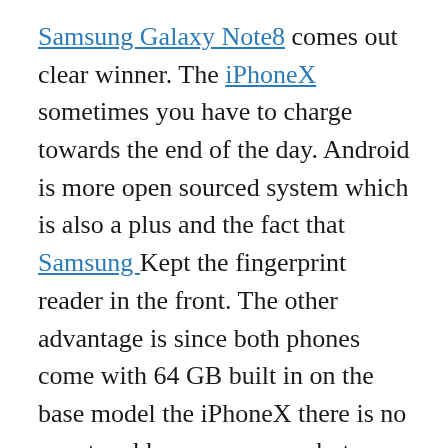Samsung Galaxy Note8 comes out clear winner. The iPhoneX sometimes you have to charge towards the end of the day. Android is more open sourced system which is also a plus and the fact that Samsung Kept the fingerprint reader in the front. The other advantage is since both phones come with 64 GB built in on the base model the iPhoneX there is no way to add more memory, but on the Samsung Galaxy Note8 you can add a Micro SD Card up to 2 TB which is a huge plus so you are not stuck with the memory you bought the phone with. Form testing the glass on the Samsung Galaxy Note8 and frame over all tends to hold up to drops and wear and tear more than the Apple iPhoneX.  Both phones it would be